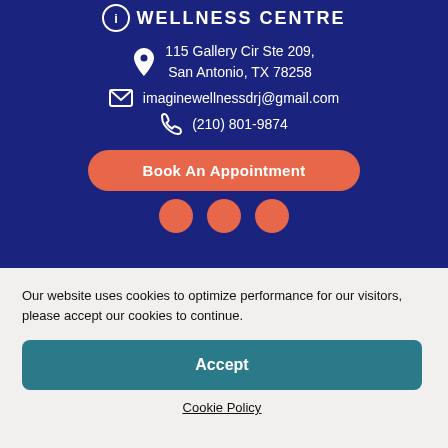WELLNESS CENTRE
115 Gallery Cir Ste 209, San Antonio, TX 78258
imaginewellnessdrj@gmail.com
(210) 801-9874
Book An Appointment
Our website uses cookies to optimize performance for our visitors, please accept our cookies to continue.
Accept
Cookie Policy